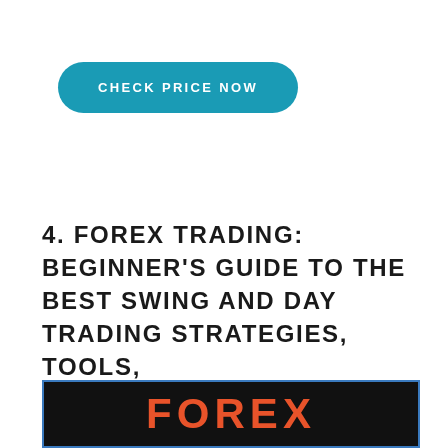CHECK PRICE NOW
4. FOREX TRADING: BEGINNER'S GUIDE TO THE BEST SWING AND DAY TRADING STRATEGIES, TOOLS, TACTICS AND PSYCHOLOGY TO PROFIT FROM OUTSTANDING SHORT-TERM
[Figure (photo): Book cover showing 'FOREX' text in orange on dark background]